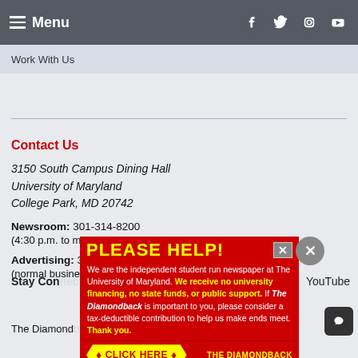Menu | Facebook Twitter Instagram YouTube
Work With Us
Contact Us
3150 South Campus Dining Hall
University of Maryland
College Park, MD 20742
Newsroom: 301-314-8200
(4:30 p.m. to midnight, Sundays through Thursdays)
Advertising: 301-276-5770
(normal business hours, Mondays through Fridays)
Stay Connected ... YouTube
[Figure (screenshot): Advertisement overlay: PLEASE HEL! red banner with yellow text. 'We are the independent student run newspaper at The University of Maryland. We receive no university financing, no state funds, or public support. If The Diamondback is important to you, please consider a tax-deductible contribution to help us make ends meet. Thank you.' with CLICK HERE button and The Diamondback logo.]
The Diamondback ... a non-profit